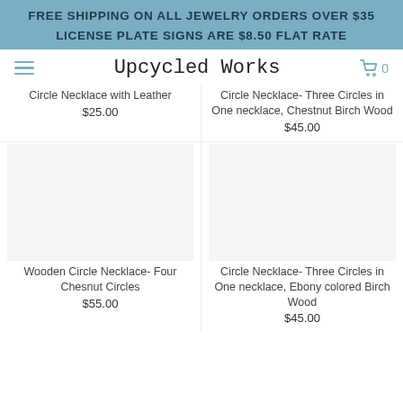FREE SHIPPING ON ALL JEWELRY ORDERS OVER $35
LICENSE PLATE SIGNS ARE $8.50 FLAT RATE
Upcycled Works
Circle Necklace with Leather
$25.00
Circle Necklace- Three Circles in One necklace, Chestnut Birch Wood
$45.00
Wooden Circle Necklace- Four Chesnut Circles
$55.00
Circle Necklace- Three Circles in One necklace, Ebony colored Birch Wood
$45.00